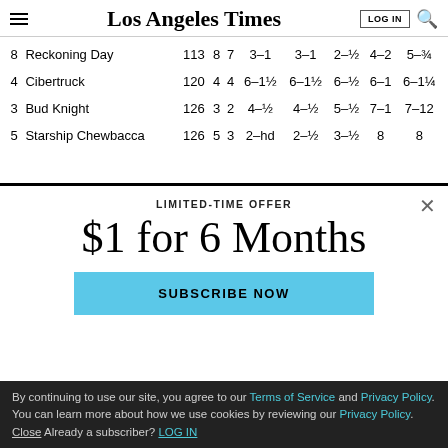Los Angeles Times
| 8 | Reckoning Day | 113 | 8 | 7 | 3–1 | 3–1 | 2–½ | 4–2 | 5–¾ |
| 4 | Cibertruck | 120 | 4 | 4 | 6–1½ | 6–1½ | 6–½ | 6–1 | 6–1¼ |
| 3 | Bud Knight | 126 | 3 | 2 | 4–½ | 4–½ | 5–½ | 7–1 | 7–12 |
| 5 | Starship Chewbacca | 126 | 5 | 3 | 2–hd | 2–½ | 3–½ | 8 | 8 |
LIMITED-TIME OFFER
$1 for 6 Months
SUBSCRIBE NOW
By continuing to use our site, you agree to our Terms of Service and Privacy Policy. You can learn more about how we use cookies by reviewing our Privacy Policy. Close Already a subscriber? LOG IN